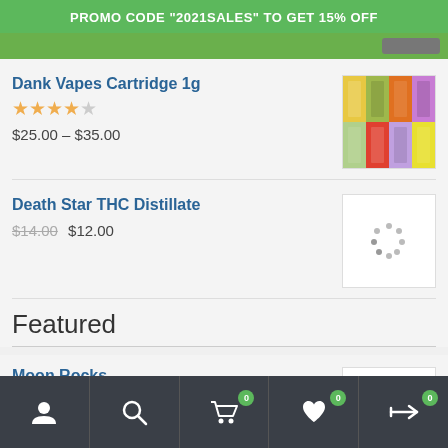PROMO CODE "2021SALES" TO GET 15% OFF
Dank Vapes Cartridge 1g
★★★★☆
$25.00 – $35.00
[Figure (photo): Product image of Dank Vapes Cartridge packaging showing multiple colorful boxes]
Death Star THC Distillate
$14.00 $12.00
[Figure (photo): Loading spinner / placeholder image for Death Star THC Distillate]
Featured
Moon Rocks
$280.00 – $2,300.00
[Figure (photo): Loading spinner / placeholder image for Moon Rocks]
Navigation bar: Account, Search, Cart (0), Wishlist (0), Compare (0)